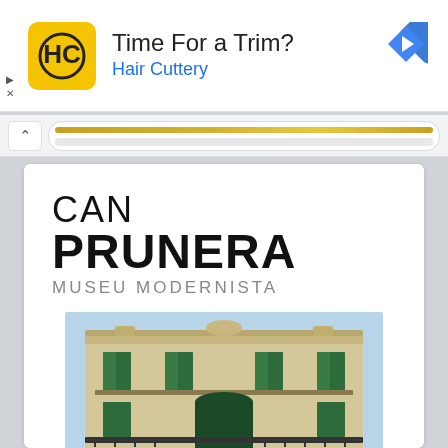[Figure (screenshot): Advertisement banner for Hair Cuttery with yellow logo, 'Time For a Trim?' headline, and blue navigation arrow icon]
[Figure (screenshot): Browser navigation bar with chevron button and URL bar showing a golden gradient strip]
CAN PRUNERA
MUSEU MODERNISTA
[Figure (photo): Photograph of Can Prunera building facade - a Modernista style building with ornate stonework, green shuttered windows, decorative balconies with iron railings, and elaborate architectural details against a blue sky]